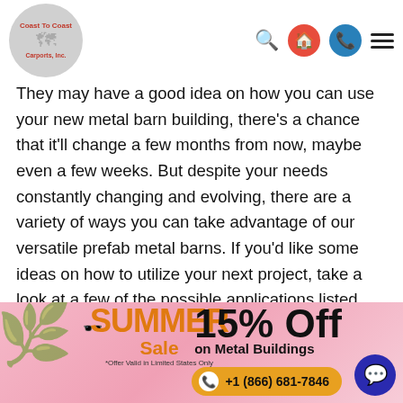Coast To Coast Carports, Inc. — navigation bar with search, home, phone, menu icons
They may have a good idea on how you can use your new metal barn building, there's a chance that it'll change a few months from now, maybe even a few weeks. But despite your needs constantly changing and evolving, there are a variety of ways you can take advantage of our versatile prefab metal barns. If you'd like some ideas on how to utilize your next project, take a look at a few of the possible applications listed below.
Riding Arena
[Figure (screenshot): Summer Sale promotional banner with '15% Off on Metal Buildings' and phone number +1 (866) 681-7846. Offer Valid in Limited States Only.]